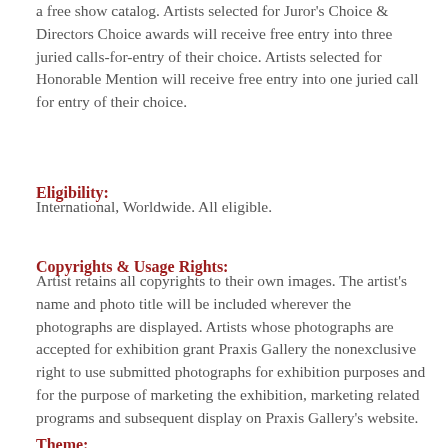a free show catalog. Artists selected for Juror's Choice & Directors Choice awards will receive free entry into three juried calls-for-entry of their choice. Artists selected for Honorable Mention will receive free entry into one juried call for entry of their choice.
Eligibility:
International, Worldwide. All eligible.
Copyrights & Usage Rights:
Artist retains all copyrights to their own images. The artist's name and photo title will be included wherever the photographs are displayed. Artists whose photographs are accepted for exhibition grant Praxis Gallery the nonexclusive right to use submitted photographs for exhibition purposes and for the purpose of marketing the exhibition, marketing related programs and subsequent display on Praxis Gallery's website.
Theme: